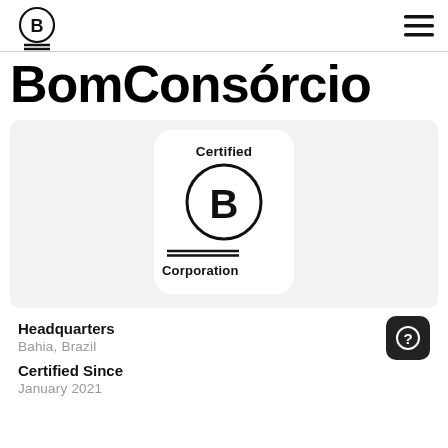[Figure (logo): B Corporation circular logo in top left header]
[Figure (logo): Hamburger menu icon (three lines) in top right header]
BomConsórcio
[Figure (logo): Certified B Corporation logo inside white rounded rectangle on grey card background]
Headquarters
Bahia, Brazil
Certified Since
January 2021